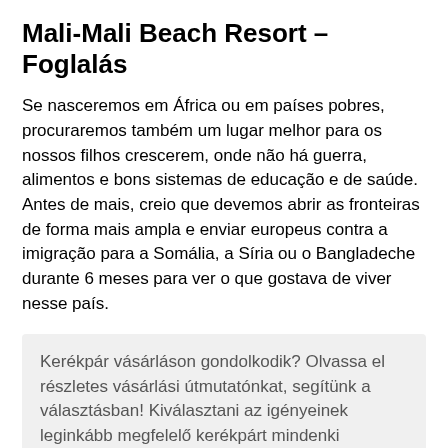Mali-Mali Beach Resort – Foglalás
Se nasceremos em África ou em países pobres, procuraremos também um lugar melhor para os nossos filhos crescerem, onde não há guerra, alimentos e bons sistemas de educação e de saúde. Antes de mais, creio que devemos abrir as fronteiras de forma mais ampla e enviar europeus contra a imigração para a Somália, a Síria ou o Bangladeche durante 6 meses para ver o que gostava de viver nesse país.
Kerékpár vásárláson gondolkodik? Olvassa el részletes vásárlási útmutatónkat, segítünk a választásban! Kiválasztani az igényeinek leginkább megfelelő kerékpárt mindenki számára komoly feladat. Akár napi szintű közlekedésre, akár a testét edzésben tartani.